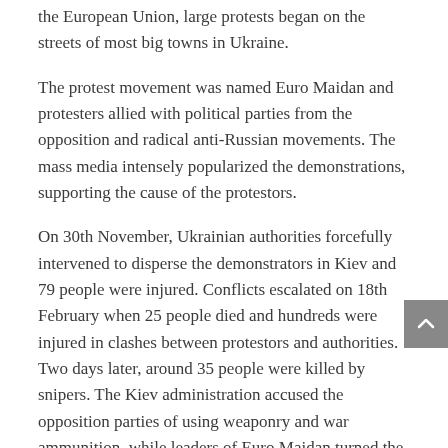the European Union, large protests began on the streets of most big towns in Ukraine.
The protest movement was named Euro Maidan and protesters allied with political parties from the opposition and radical anti-Russian movements. The mass media intensely popularized the demonstrations, supporting the cause of the protestors.
On 30th November, Ukrainian authorities forcefully intervened to disperse the demonstrators in Kiev and 79 people were injured. Conflicts escalated on 18th February when 25 people died and hundreds were injured in clashes between protestors and authorities. Two days later, around 35 people were killed by snipers. The Kiev administration accused the opposition parties of using weaponry and war ammunition, while leaders of Euro Maidan turned the accusations towards the authorities.